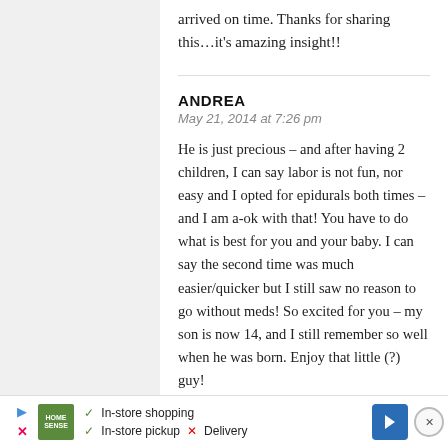arrived on time. Thanks for sharing this…it's amazing insight!!
ANDREA
May 21, 2014 at 7:26 pm
He is just precious – and after having 2 children, I can say labor is not fun, nor easy and I opted for epidurals both times – and I am a-ok with that! You have to do what is best for you and your baby. I can say the second time was much easier/quicker but I still saw no reason to go without meds! So excited for you – my son is now 14, and I still remember so well when he was born. Enjoy that little (?) guy!
[Figure (other): Advertisement banner for Home Sense showing in-store shopping, in-store pickup checkmarks, and a red X for Delivery, with navigation arrow icon and close button.]